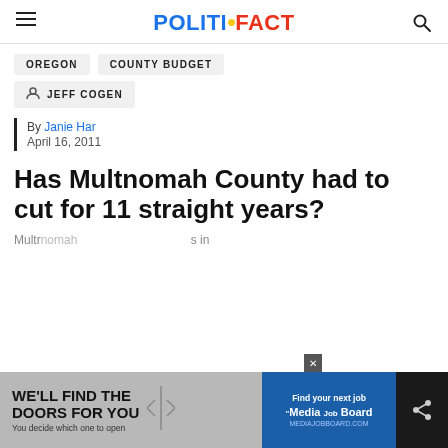POLITIFACT
OREGON
COUNTY BUDGET
JEFF COGEN
By Janie Har
April 16, 2011
Has Multnomah County had to cut for 11 straight years?
[Figure (other): Bottom advertisement banner: left side gray background with 'WE'LL FIND THE DOORS FOR YOU / You decide which one to open', right side blue background with 'Find your next job / Media Job Board']